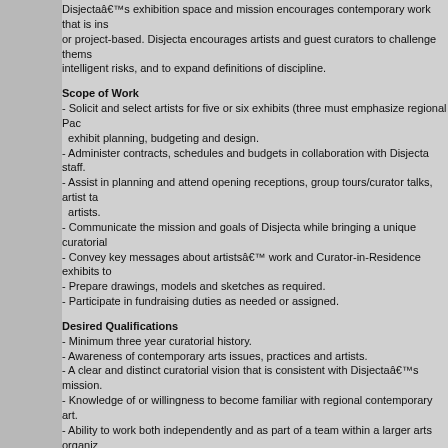Disjectaâs exhibition space and mission encourages contemporary work that is installation-based or project-based. Disjecta encourages artists and guest curators to challenge themselves to take intelligent risks, and to expand definitions of discipline.
Scope of Work
- Solicit and select artists for five or six exhibits (three must emphasize regional Pacific Northwest artists); exhibit planning, budgeting and design.
- Administer contracts, schedules and budgets in collaboration with Disjecta staff.
- Assist in planning and attend opening receptions, group tours/curator talks, artist talks with artists.
- Communicate the mission and goals of Disjecta while bringing a unique curatorial voice.
- Convey key messages about artistsâ work and Curator-in-Residence exhibits to the public.
- Prepare drawings, models and sketches as required.
- Participate in fundraising duties as needed or assigned.
Desired Qualifications
- Minimum three year curatorial history.
- Awareness of contemporary arts issues, practices and artists.
- A clear and distinct curatorial vision that is consistent with Disjectaâs mission.
- Knowledge of or willingness to become familiar with regional contemporary art.
- Ability to work both independently and as part of a team within a larger arts organization.
- Ability to organize and communicate messages effectively through writing and public speaking.
- Ability to manage exhibition budgets.
- Ability to meet deadlines.
- Graduate-level education in curatorial studies or a related field is preferred but not required.
Submission Requirements
All applications must be sent via email. No exceptions. The subject line must read: CIR 2011. Please include the following:
1. Examples of past curatorial work, including images and critical reviews.
2. Curatorial statement and vision for the Disjecta Curator-in-Residence Program.
3. Professional resume.
4. Two writing samples.
5. Three professional references.